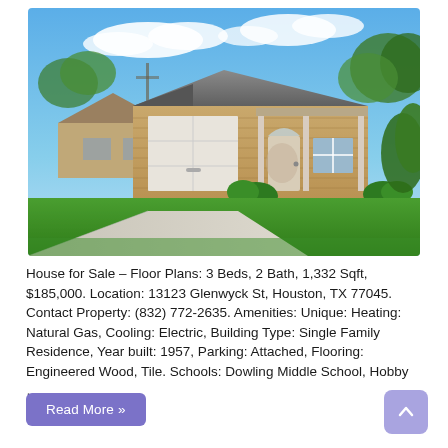[Figure (photo): Exterior photo of a single-family brick ranch-style house with white garage door, covered front porch, green lawn, and concrete driveway under a blue sky with clouds.]
House for Sale – Floor Plans: 3 Beds, 2 Bath, 1,332 Sqft, $185,000. Location: 13123 Glenwyck St, Houston, TX 77045. Contact Property: (832) 772-2635. Amenities: Unique: Heating: Natural Gas, Cooling: Electric, Building Type: Single Family Residence, Year built: 1957, Parking: Attached, Flooring: Engineered Wood, Tile. Schools: Dowling Middle School, Hobby …